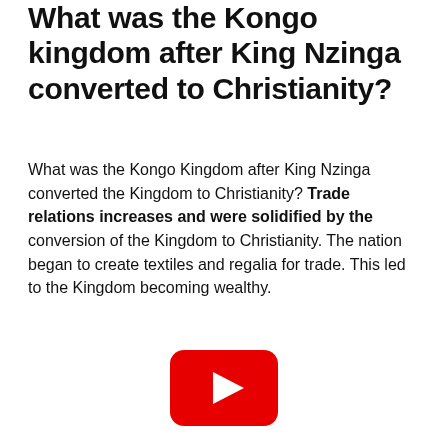What was the Kongo kingdom after King Nzinga converted to Christianity?
What was the Kongo Kingdom after King Nzinga converted the Kingdom to Christianity? Trade relations increases and were solidified by the conversion of the Kingdom to Christianity. The nation began to create textiles and regalia for trade. This led to the Kingdom becoming wealthy.
[Figure (other): YouTube play button logo — red rounded rectangle with white triangle play icon]